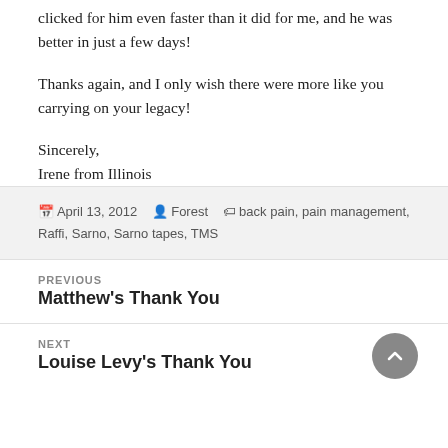clicked for him even faster than it did for me, and he was better in just a few days!
Thanks again, and I only wish there were more like you carrying on your legacy!
Sincerely,
Irene from Illinois
April 13, 2012  Forest  back pain, pain management, Raffi, Sarno, Sarno tapes, TMS
PREVIOUS
Matthew's Thank You
NEXT
Louise Levy's Thank You